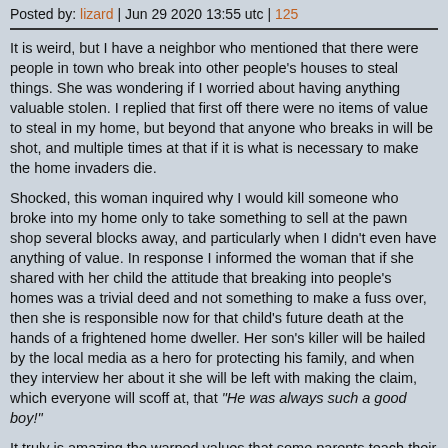Posted by: lizard | Jun 29 2020 13:55 utc | 125
It is weird, but I have a neighbor who mentioned that there were people in town who break into other people's houses to steal things. She was wondering if I worried about having anything valuable stolen. I replied that first off there were no items of value to steal in my home, but beyond that anyone who breaks in will be shot, and multiple times at that if it is what is necessary to make the home invaders die.
Shocked, this woman inquired why I would kill someone who broke into my home only to take something to sell at the pawn shop several blocks away, and particularly when I didn't even have anything of value. In response I informed the woman that if she shared with her child the attitude that breaking into people's homes was a trivial deed and not something to make a fuss over, then she is responsible now for that child's future death at the hands of a frightened home dweller. Her son's killer will be hailed by the local media as a hero for protecting his family, and when they interview her about it she will be left with making the claim, which everyone will scoff at, that "He was always such a good boy!"
It truly is amazing the warped values that some parents teach their kids.